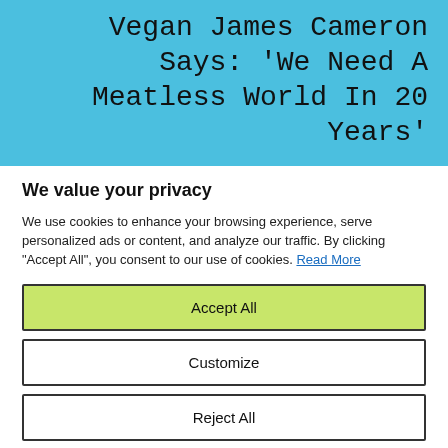Vegan James Cameron Says: 'We Need A Meatless World In 20 Years'
We value your privacy
We use cookies to enhance your browsing experience, serve personalized ads or content, and analyze our traffic. By clicking "Accept All", you consent to our use of cookies. Read More
Accept All
Customize
Reject All